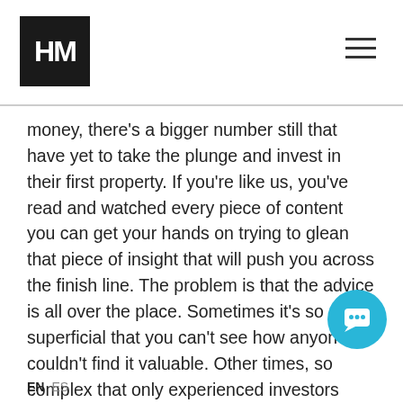HM logo and navigation
money, there's a bigger number still that have yet to take the plunge and invest in their first property. If you're like us, you've read and watched every piece of content you can get your hands on trying to glean that piece of insight that will push you across the finish line. The problem is that the advice is all over the place. Sometimes it's so superficial that you can't see how anyone couldn't find it valuable. Other times, so complex that only experienced investors could possibly understand it.  But in all of these articles, there always seems to be some things they just aren't telling you.
Based on our experience working with investors,